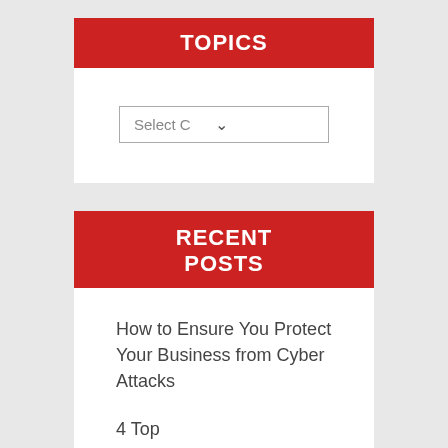TOPICS
[Figure (screenshot): A dropdown select box with placeholder text 'Select C' and a chevron arrow]
RECENT POSTS
How to Ensure You Protect Your Business from Cyber Attacks
4 Top